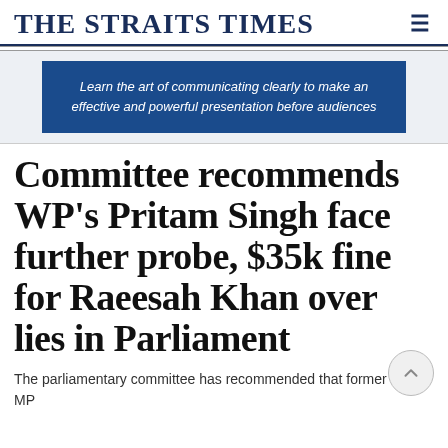THE STRAITS TIMES
[Figure (other): Advertisement banner with dark blue background and italic text: Learn the art of communicating clearly to make an effective and powerful presentation before audiences]
Committee recommends WP's Pritam Singh face further probe, $35k fine for Raeesah Khan over lies in Parliament
The parliamentary committee has recommended that former WP MP